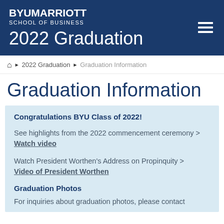BYU MARRIOTT SCHOOL OF BUSINESS — 2022 Graduation
Home › 2022 Graduation › Graduation Information
Graduation Information
Congratulations BYU Class of 2022!
See highlights from the 2022 commencement ceremony > Watch video
Watch President Worthen's Address on Propinquity > Video of President Worthen
Graduation Photos
For inquiries about graduation photos, please contact